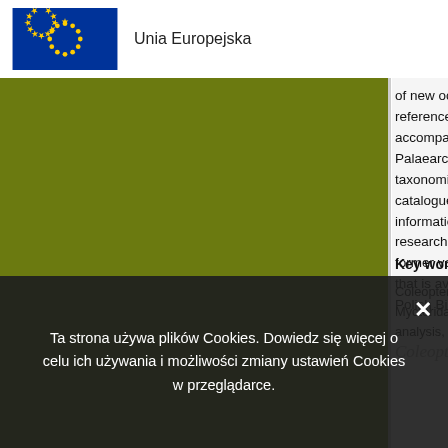[Figure (logo): European Union flag (blue background with yellow stars in a circle) followed by text 'Unia Europejska']
of new occurrences, including Mycteridae. references, localities, UTM 10×10 km grid c accompanied by distribution maps generali Palaearctic distribution of all the discussed taxonomic checklist of the covered groups i catalogue part is followed by the meta-anal information. A number of analytical and ger research intensity and some other paramet former volume of the Coleoptera Poloniae s that is available online through the Biodiver Polish Biodiversity Information Network (KS
Key words
Coleoptera, Tenebrionoidea, Tetratomidae, Mycteridae, Pythidae, Aderidae, Scraptiida analysis, checklist, museum collections, Po
Coleoptera Poloniae
Ta strona używa plików Cookies. Dowiedz się więcej o celu ich używania i możliwości zmiany ustawień Cookies w przeglądarce.